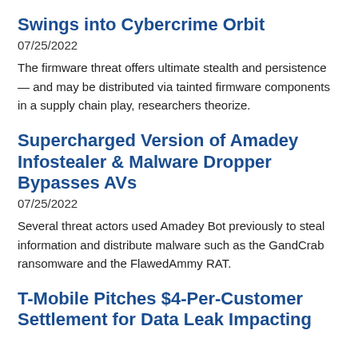Swings into Cybercrime Orbit
07/25/2022
The firmware threat offers ultimate stealth and persistence — and may be distributed via tainted firmware components in a supply chain play, researchers theorize.
Supercharged Version of Amadey Infostealer & Malware Dropper Bypasses AVs
07/25/2022
Several threat actors used Amadey Bot previously to steal information and distribute malware such as the GandCrab ransomware and the FlawedAmmy RAT.
T-Mobile Pitches $4-Per-Customer Settlement for Data Leak Impacting